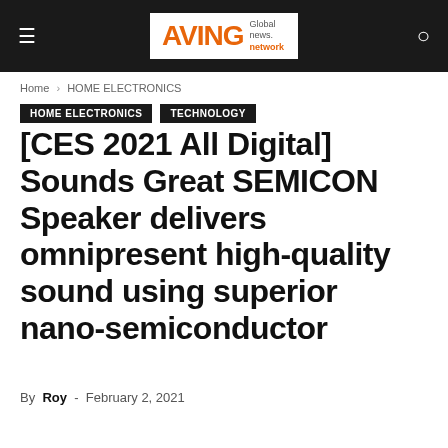AVING Global news network
Home › HOME ELECTRONICS
HOME ELECTRONICS   TECHNOLOGY
[CES 2021 All Digital] Sounds Great SEMICON Speaker delivers omnipresent high-quality sound using superior nano-semiconductor
By Roy - February 2, 2021